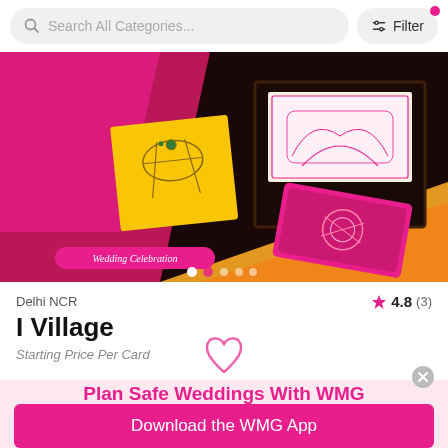Search All Categories...  Filter
[Figure (photo): Wedding invitation/stationery items including pink silk cloth, yellow cards with Indian motifs, dark wooden box with framed artwork, bright pink embroidered pouch, arranged together for a wedding vendor display]
Delhi NCR  ★ 4.8 (3)
I Village
Starting Price Per Card
[Figure (illustration): Heart outline icon (like/favorite button)]
Plan Safe Weddings With WMG
Find Wedding Vendors at 1 Click
Download the WMG App